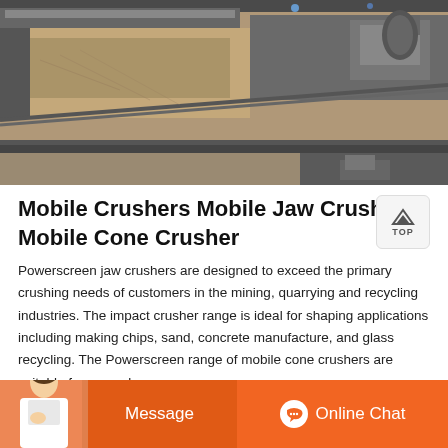[Figure (photo): Aerial view of a mining/quarrying site showing conveyor belts, machinery, excavated material and industrial equipment from above]
Mobile Crushers Mobile Jaw Crusher Mobile Cone Crusher
Powerscreen jaw crushers are designed to exceed the primary crushing needs of customers in the mining, quarrying and recycling industries. The impact crusher range is ideal for shaping applications including making chips, sand, concrete manufacture, and glass recycling. The Powerscreen range of mobile cone crushers are suitable for secondary ...